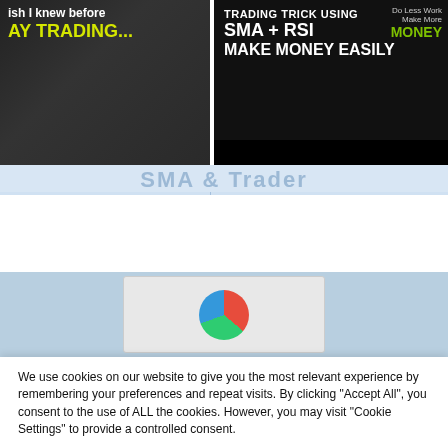[Figure (screenshot): Left thumbnail showing day trading video thumbnail with yellow text 'AY TRADING...' on dark background]
[Figure (screenshot): Right thumbnail showing trading trick video with SMA + RSI text, 'MAKE MONEY EASILY', and 'Do Less Work Make More MONEY' badge]
4 Lessons I Wish I Knew before I Started Day Trading
Simple Intraday Trading Strategy Using SMA And Rsi
[Figure (screenshot): Partially visible website content preview with a pie chart graphic]
We use cookies on our website to give you the most relevant experience by remembering your preferences and repeat visits. By clicking "Accept All", you consent to the use of ALL the cookies. However, you may visit "Cookie Settings" to provide a controlled consent.
Cookie Settings
Accept All